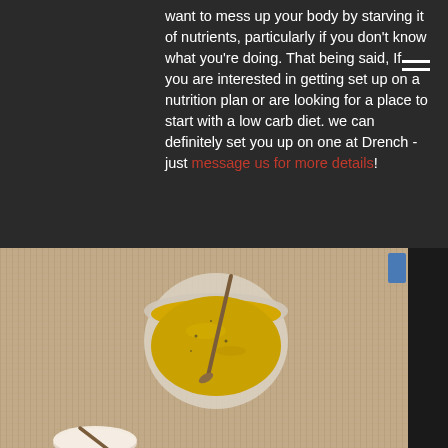want to mess up your body by starving it of nutrients, particularly if you don't know what you're doing. That being said, If you are interested in getting set up on a nutrition plan or are looking for a place to start with a low carb diet. we can definitely set you up on one at Drench - just message us for more details!
[Figure (photo): A bowl of yellow/golden soup or smoothie with a spoon in it, placed on a woven placemat surface. A plate is partially visible at the bottom left.]